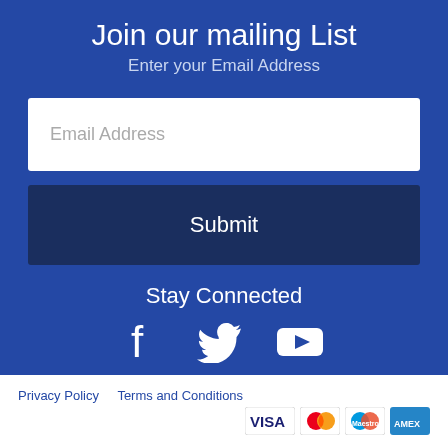Join our mailing List
Enter your Email Address
Email Address
Submit
Stay Connected
[Figure (illustration): Social media icons: Facebook, Twitter, YouTube]
Privacy Policy   Terms and Conditions
[Figure (illustration): Payment card logos: VISA, Mastercard, Maestro, American Express]